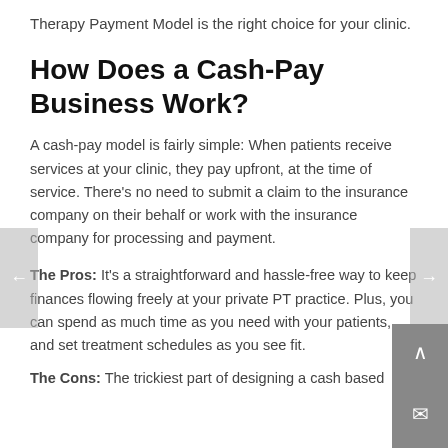Therapy Payment Model is the right choice for your clinic.
How Does a Cash-Pay Business Work?
A cash-pay model is fairly simple: When patients receive services at your clinic, they pay upfront, at the time of service. There's no need to submit a claim to the insurance company on their behalf or work with the insurance company for processing and payment.
The Pros:  It's a straightforward and hassle-free way to keep finances flowing freely at your private PT practice. Plus, you can spend as much time as you need with your patients, and set treatment schedules as you see fit.
The Cons:  The trickiest part of designing a cash based